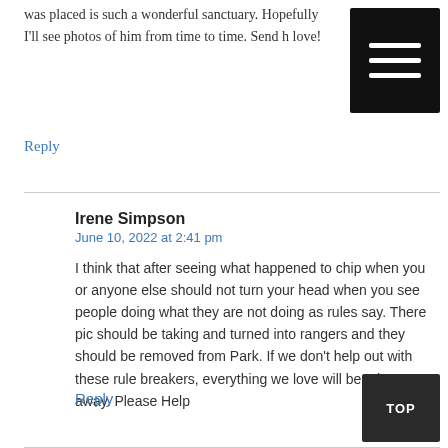was placed is such a wonderful sanctuary. Hopefully I'll see photos of him from time to time. Send h love!
Reply
Irene Simpson
June 10, 2022 at 2:41 pm
I think that after seeing what happened to chip when you or anyone else should not turn your head when you see people doing what they are not doing as rules say. There pic should be taking and turned into rangers and they should be removed from Park. If we don't help out with these rule breakers, everything we love will be taken away. Please Help
Reply